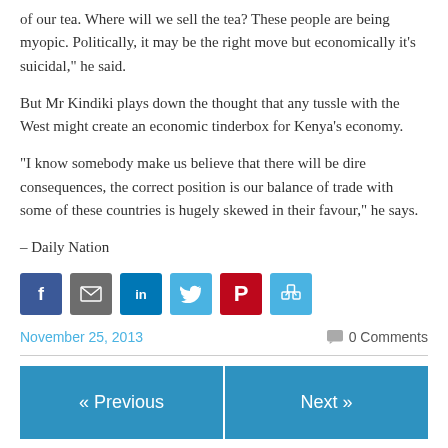of our tea. Where will we sell the tea? These people are being myopic. Politically, it may be the right move but economically it’s suicidal,” he said.
But Mr Kindiki plays down the thought that any tussle with the West might create an economic tinderbox for Kenya’s economy.
“I know somebody make us believe that there will be dire consequences, the correct position is our balance of trade with some of these countries is hugely skewed in their favour,” he says.
– Daily Nation
[Figure (infographic): Social sharing buttons: Facebook (blue), Email (gray), LinkedIn (blue), Twitter (light blue), Pinterest (red), Share/community (light blue)]
November 25, 2013    0 Comments
« Previous    Next »